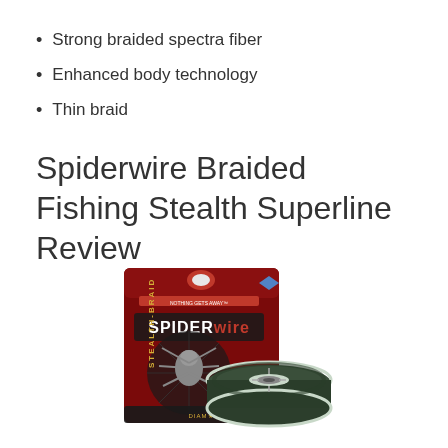Strong braided spectra fiber
Enhanced body technology
Thin braid
Spiderwire Braided Fishing Stealth Superline Review
[Figure (photo): Spiderwire Stealth-Braid fishing line product packaging (dark red card with spider graphic) alongside a spool of dark green braided fishing line]